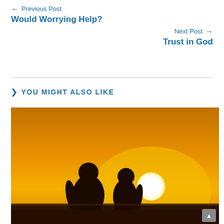← Previous Post
Would Worrying Help?
Next Post →
Trust in God
> YOU MIGHT ALSO LIKE
[Figure (photo): Silhouette of two people standing together against a bright golden sunset, viewed from behind. The sun is visible as a bright white circle on the right side of the image with an orange and amber sky.]